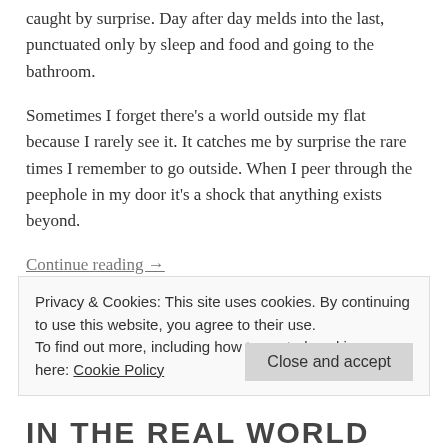caught by surprise. Day after day melds into the last, punctuated only by sleep and food and going to the bathroom.
Sometimes I forget there's a world outside my flat because I rarely see it. It catches me by surprise the rare times I remember to go outside. When I peer through the peephole in my door it's a shock that anything exists beyond.
Continue reading →
Privacy & Cookies: This site uses cookies. By continuing to use this website, you agree to their use.
To find out more, including how to control cookies, see here: Cookie Policy
Close and accept
IN THE REAL WORLD